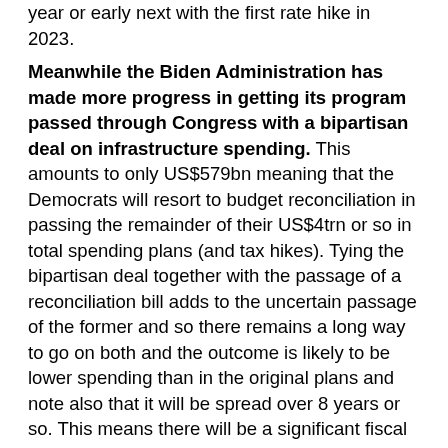year or early next with the first rate hike in 2023.
Meanwhile the Biden Administration has made more progress in getting its program passed through Congress with a bipartisan deal on infrastructure spending. This amounts to only US$579bn meaning that the Democrats will resort to budget reconciliation in passing the remainder of their US$4trn or so in total spending plans (and tax hikes). Tying the bipartisan deal together with the passage of a reconciliation bill adds to the uncertain passage of the former and so there remains a long way to go on both and the outcome is likely to be lower spending than in the original plans and note also that it will be spread over 8 years or so. This means there will be a significant fiscal cliff next year – which should be manageable though if the economy continues to reopen. The odds of a corporate tax hike will also start to go up again, albeit a 28% rate is still unlikely.